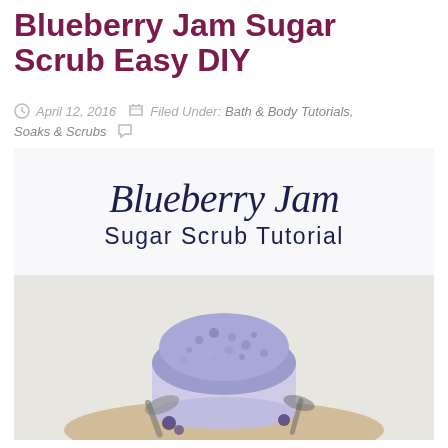Blueberry Jam Sugar Scrub Easy DIY
April 12, 2016   Filed Under: Bath & Body Tutorials, Soaks & Scrubs
[Figure (illustration): Promotional blog image for Blueberry Jam Sugar Scrub Tutorial. Top half shows script text 'Blueberry Jam' in dark navy italic font and 'Sugar Scrub Tutorial' in sans-serif below, on a light gray/white background. Bottom half shows a glass jar filled with purple-blue sugar scrub, with spoons and a wooden board in the background.]